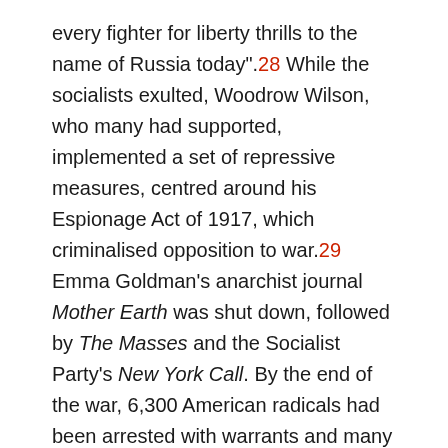every fighter for liberty thrills to the name of Russia today".28 While the socialists exulted, Woodrow Wilson, who many had supported, implemented a set of repressive measures, centred around his Espionage Act of 1917, which criminalised opposition to war.29 Emma Goldman’s anarchist journal Mother Earth was shut down, followed by The Masses and the Socialist Party’s New York Call. By the end of the war, 6,300 American radicals had been arrested with warrants and many more without them.30 Among those arrested was Pastor Stokes’s great friend Eugene Debs, who was sentenced to 10 years in prison. Max Eastman was arrested in August 1917, and Pastor Stokes herself was arrested in March 1918 after a speech in Kansas. Graham Stokes got her out of prison with a $10,000 bail, promptly